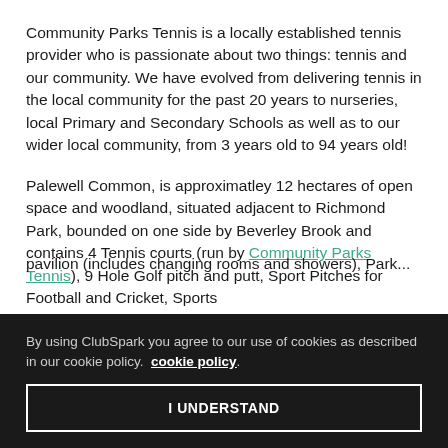Community Parks Tennis is a locally established tennis provider who is passionate about two things: tennis and our community. We have evolved from delivering tennis in the local community for the past 20 years to nurseries, local Primary and Secondary Schools as well as to our wider local community, from 3 years old to 94 years old!
Palewell Common, is approximatley 12 hectares of open space and woodland, situated adjacent to Richmond Park, bounded on one side by Beverley Brook and contains 4 Tennis courts (run by Community Parks Tennis), 9 Hole Golf pitch and putt, Sport Pitches for Football and Cricket, Sports pavilion (includes changing rooms and showers), Park...
By using ClubSpark you agree to our use of cookies as described in our cookie policy. cookie policy.